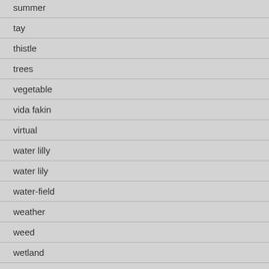summer
tay
thistle
trees
vegetable
vida fakin
virtual
water lilly
water lily
water-field
weather
weed
wetland